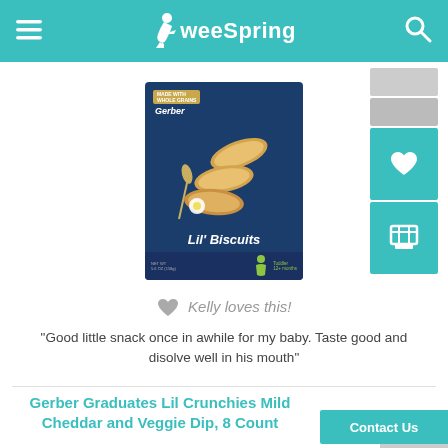weeSpring
[Figure (photo): Gerber Lil' Biscuits product box on dark blue background showing biscuit-shaped snacks and vanilla flower decoration]
Kelly loves this!
"Good little snack once in awhile for my baby. Taste good and disolve well in his mouth"
Gerber Graduates Lil Crunchies Mild Cheddar and Veggie Dip, 8 Count